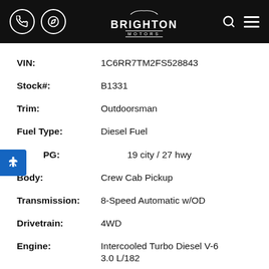Brighton Motors
| Field | Value |
| --- | --- |
| VIN: | 1C6RR7TM2FS528843 |
| Stock#: | B1331 |
| Trim: | Outdoorsman |
| Fuel Type: | Diesel Fuel |
| MPG: | 19 city / 27 hwy |
| Body: | Crew Cab Pickup |
| Transmission: | 8-Speed Automatic w/OD |
| Drivetrain: | 4WD |
| Engine: | Intercooled Turbo Diesel V-6 3.0 L/182 |
| Mechanical: | Torque @ RPM: 420 @ 2000 |
| Capacity: | 6 |